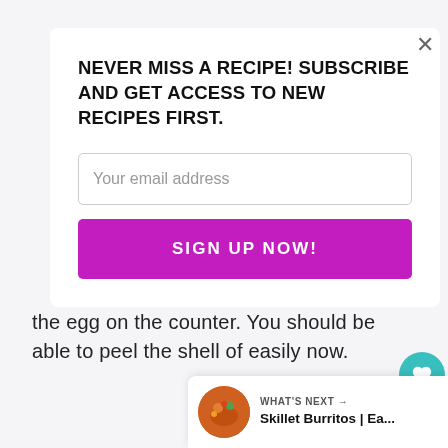NEVER MISS A RECIPE! SUBSCRIBE AND GET ACCESS TO NEW RECIPES FIRST.
Your email address
SIGN UP NOW!
the egg on the counter. You should be able to peel the shell of easily now.
6.8K
WHAT'S NEXT → Skillet Burritos | Ea...